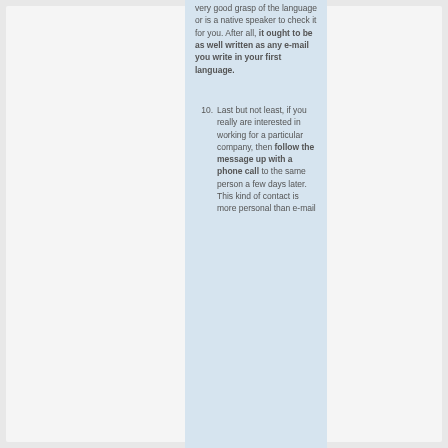very good grasp of the language or is a native speaker to check it for you. After all, it ought to be as well written as any e-mail you write in your first language.
10. Last but not least, if you really are interested in working for a particular company, then follow the message up with a phone call to the same person a few days later. This kind of contact is more personal than e-mail